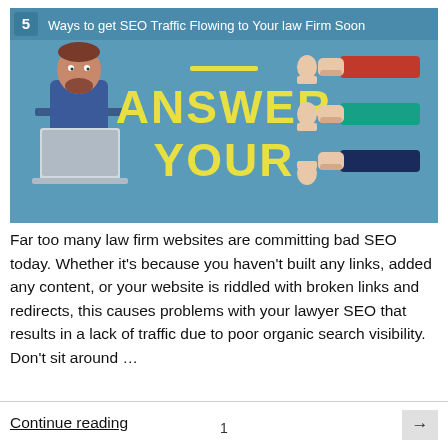[Figure (infographic): Infographic banner: '5 Ways to get SEO Traffic Flowing to Your law Firm Soon' with teal/blue background. Shows a cartoon man at laptop on the left, large yellow bold text 'ANSWER YOUR' in center with a yellow underline, and three hands with thumbs up/down on the right in red, teal/green, and dark blue colors.]
Far too many law firm websites are committing bad SEO today. Whether it's because you haven't built any links, added any content, or your website is riddled with broken links and redirects, this causes problems with your lawyer SEO that results in a lack of traffic due to poor organic search visibility. Don't sit around …
Continue reading
1